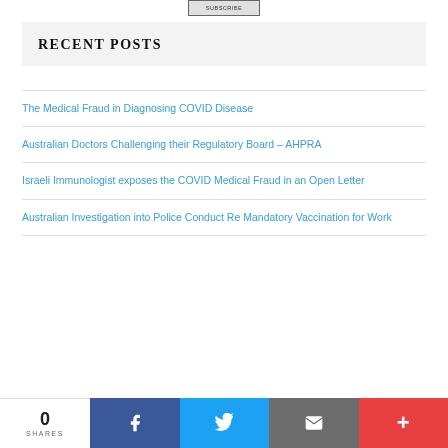[Figure (screenshot): Partially visible subscribe/button element at top of page]
RECENT POSTS
The Medical Fraud in Diagnosing COVID Disease
Australian Doctors Challenging their Regulatory Board – AHPRA
Israeli Immunologist exposes the COVID Medical Fraud in an Open Letter
Australian Investigation into Police Conduct Re Mandatory Vaccination for Work
0 SHARES  [Facebook] [Twitter] [Email] [More]